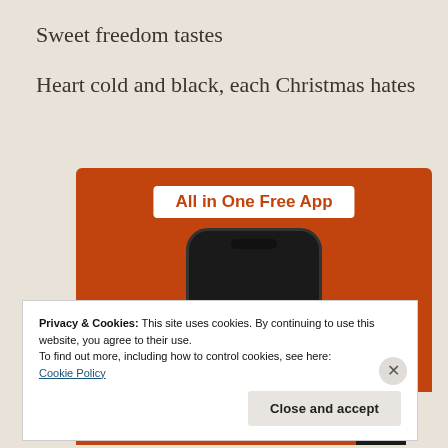Sweet freedom tastes
Heart cold and black, each Christmas hates
[Figure (screenshot): DuckDuckGo 'All in One Free App' advertisement showing a smartphone with the DuckDuckGo duck logo on an orange background, with the text 'All in One Free App' on a white banner.]
Privacy & Cookies: This site uses cookies. By continuing to use this website, you agree to their use.
To find out more, including how to control cookies, see here:
Cookie Policy
Close and accept